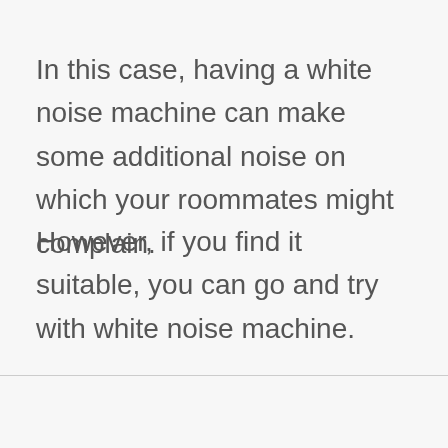In this case, having a white noise machine can make some additional noise on which your roommates might complain.
However, if you find it suitable, you can go and try with white noise machine.